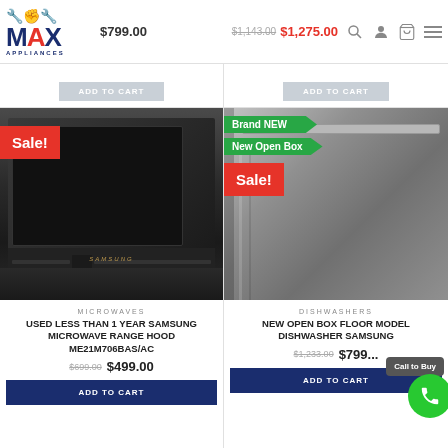[Figure (logo): Max Appliances logo with red wrench/fist icon and blue MAX APPLIANCES text]
$799.00
$1,143.00 $1,275.00
[Figure (photo): Samsung microwave range hood, dark stainless steel, with Sale! badge in red]
Sale!
MICROWAVES
USED LESS THAN 1 YEAR SAMSUNG MICROWAVE RANGE HOOD ME21M706BAS/AC
$699.00 $499.00
[Figure (photo): Samsung dishwasher stainless steel, with Brand NEW, New Open Box green tags and Sale! badge in red]
Brand NEW
New Open Box
Sale!
DISHWASHERS
NEW OPEN BOX FLOOR MODEL DISHWASHER SAMSUNG
$1,233.00 $799...
Call to Buy
ADD TO CART
ADD TO CART